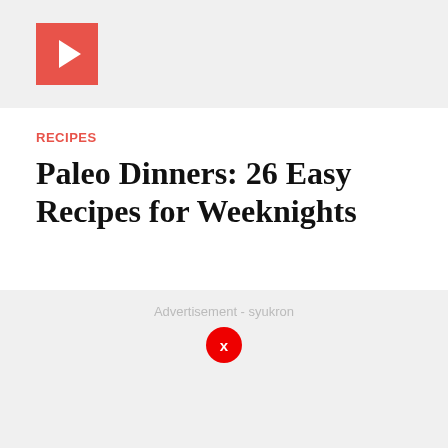[Figure (other): Red play button icon on gray background banner]
RECIPES
Paleo Dinners: 26 Easy Recipes for Weeknights
Advertisement - syukron
[Figure (other): Red circular close/X button for advertisement]